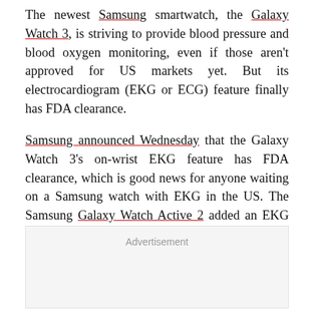The newest Samsung smartwatch, the Galaxy Watch 3, is striving to provide blood pressure and blood oxygen monitoring, even if those aren't approved for US markets yet. But its electrocardiogram (EKG or ECG) feature finally has FDA clearance.
Samsung announced Wednesday that the Galaxy Watch 3's on-wrist EKG feature has FDA clearance, which is good news for anyone waiting on a Samsung watch with EKG in the US. The Samsung Galaxy Watch Active 2 added an EKG function last year, but didn't get FDA clearance.
Advertisement